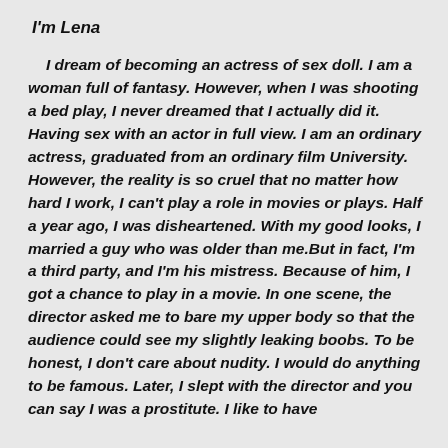I'm Lena
I dream of becoming an actress of sex doll. I am a woman full of fantasy. However, when I was shooting a bed play, I never dreamed that I actually did it. Having sex with an actor in full view. I am an ordinary actress, graduated from an ordinary film University. However, the reality is so cruel that no matter how hard I work, I can't play a role in movies or plays. Half a year ago, I was disheartened. With my good looks, I married a guy who was older than me.But in fact, I'm a third party, and I'm his mistress. Because of him, I got a chance to play in a movie. In one scene, the director asked me to bare my upper body so that the audience could see my slightly leaking boobs. To be honest, I don't care about nudity. I would do anything to be famous. Later, I slept with the director and you can say I was a prostitute. I like to have